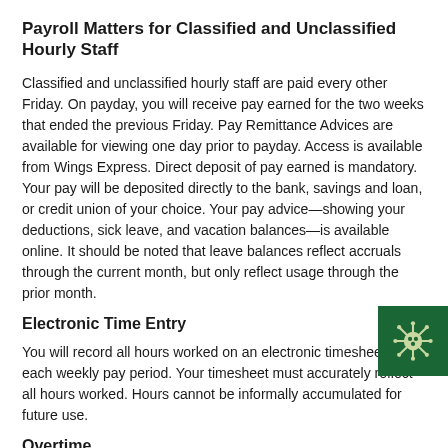Payroll Matters for Classified and Unclassified Hourly Staff
Classified and unclassified hourly staff are paid every other Friday. On payday, you will receive pay earned for the two weeks that ended the previous Friday. Pay Remittance Advices are available for viewing one day prior to payday. Access is available from Wings Express. Direct deposit of pay earned is mandatory. Your pay will be deposited directly to the bank, savings and loan, or credit union of your choice. Your pay advice—showing your deductions, sick leave, and vacation balances—is available online. It should be noted that leave balances reflect accruals through the current month, but only reflect usage through the prior month.
Electronic Time Entry
You will record all hours worked on an electronic timesheet for each weekly pay period. Your timesheet must accurately reflect all hours worked. Hours cannot be informally accumulated for future use.
Overtime
Classified and unclassified hourly employees are eligible for overtime for all hours worked over forty hours in an active pay status in a